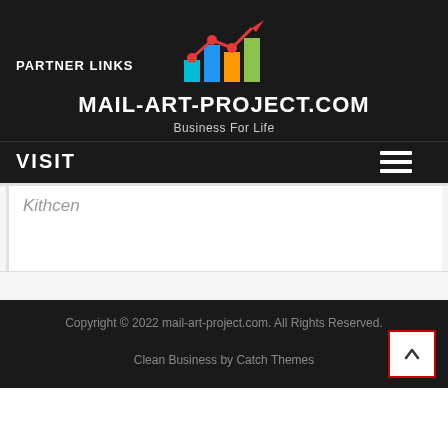[Figure (logo): Bar chart logo with upward trending line and dots, in red, blue, cyan, orange, and green colors]
MAIL-ART-PROJECT.COM
Business For Life
PARTNER LINKS
VISIT
Kithcen
Copyright © 2022 mail-art-project.com. All Rights Reserved.
Clean Business by Catch Themes